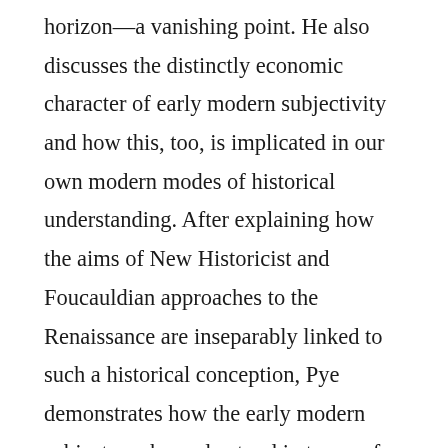horizon—a vanishing point. He also discusses the distinctly economic character of early modern subjectivity and how this, too, is implicated in our own modern modes of historical understanding. After explaining how the aims of New Historicist and Foucauldian approaches to the Renaissance are inseparably linked to such a historical conception, Pye demonstrates how the early modern subject can be understood in terms of a Lacanian and Zizekian account of the emerging social sphere. By focusing on the Renaissance as a period of remarkable artistic and cultural production, he is able to illustrate his points with discussions of a number of uniquely